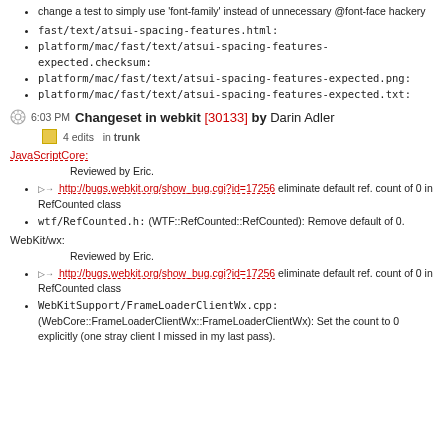change a test to simply use 'font-family' instead of unnecessary @font-face hackery
fast/text/atsui-spacing-features.html:
platform/mac/fast/text/atsui-spacing-features-expected.checksum:
platform/mac/fast/text/atsui-spacing-features-expected.png:
platform/mac/fast/text/atsui-spacing-features-expected.txt:
6:03 PM Changeset in webkit [30133] by Darin Adler
4 edits   in trunk
JavaScriptCore:
Reviewed by Eric.
http://bugs.webkit.org/show_bug.cgi?id=17256 eliminate default ref. count of 0 in RefCounted class
wtf/RefCounted.h: (WTF::RefCounted::RefCounted): Remove default of 0.
WebKit/wx:
Reviewed by Eric.
http://bugs.webkit.org/show_bug.cgi?id=17256 eliminate default ref. count of 0 in RefCounted class
WebKitSupport/FrameLoaderClientWx.cpp: (WebCore::FrameLoaderClientWx::FrameLoaderClientWx): Set the count to 0 explicitly (one stray client I missed in my last pass).